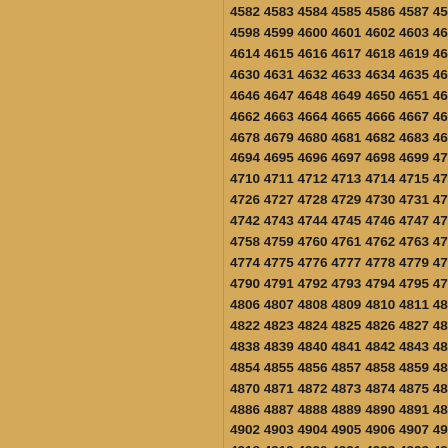4582 4583 4584 4585 4586 4587 4588 4598 4599 4600 4601 4602 4603 4604 4614 4615 4616 4617 4618 4619 4620 4630 4631 4632 4633 4634 4635 4636 4646 4647 4648 4649 4650 4651 4652 4662 4663 4664 4665 4666 4667 4668 4678 4679 4680 4681 4682 4683 4684 4694 4695 4696 4697 4698 4699 4700 4710 4711 4712 4713 4714 4715 4716 4726 4727 4728 4729 4730 4731 4732 4742 4743 4744 4745 4746 4747 4748 4758 4759 4760 4761 4762 4763 4764 4774 4775 4776 4777 4778 4779 4780 4790 4791 4792 4793 4794 4795 4796 4806 4807 4808 4809 4810 4811 4812 4822 4823 4824 4825 4826 4827 4828 4838 4839 4840 4841 4842 4843 4844 4854 4855 4856 4857 4858 4859 4860 4870 4871 4872 4873 4874 4875 4876 4886 4887 4888 4889 4890 4891 4892 4902 4903 4904 4905 4906 4907 4908 4918 4919 4920 4921 4922 4923 4924